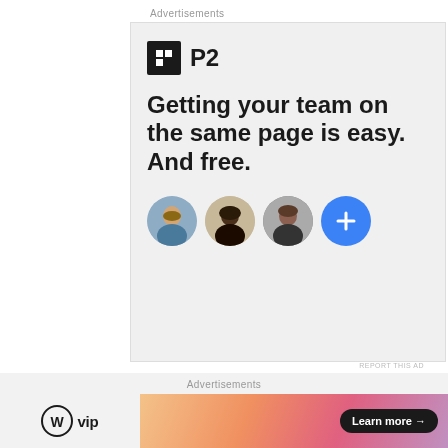Advertisements
[Figure (infographic): P2 advertisement with logo, headline 'Getting your team on the same page is easy. And free.' and circular user avatars with a blue plus button]
REPORT THIS AD
Share this:
Twitter  Facebook  Pinterest 2
Advertisements
[Figure (infographic): WordPress VIP logo alongside an orange/salmon gradient banner with a 'Learn more →' button]